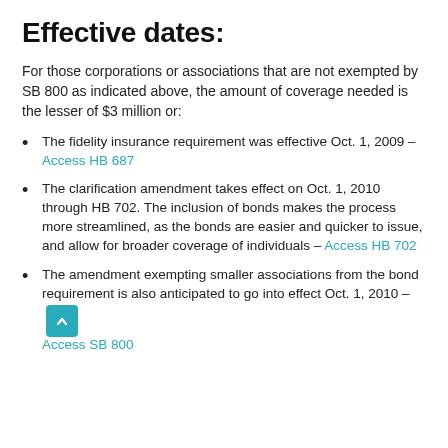Effective dates:
For those corporations or associations that are not exempted by SB 800 as indicated above, the amount of coverage needed is the lesser of $3 million or:
The fidelity insurance requirement was effective Oct. 1, 2009 – Access HB 687
The clarification amendment takes effect on Oct. 1, 2010 through HB 702. The inclusion of bonds makes the process more streamlined, as the bonds are easier and quicker to issue, and allow for broader coverage of individuals – Access HB 702
The amendment exempting smaller associations from the bond requirement is also anticipated to go into effect Oct. 1, 2010 – Access SB 800